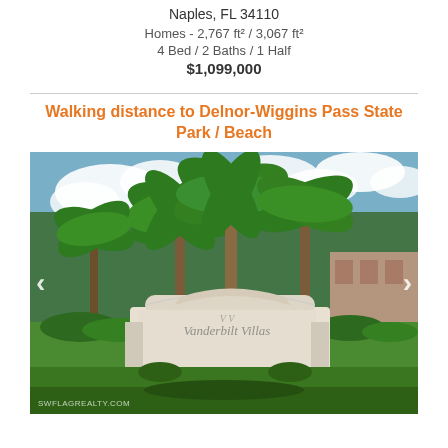Naples, FL 34110
Homes - 2,767 ft² / 3,067 ft²
4 Bed / 2 Baths / 1 Half
$1,099,000
Walking distance to Delnor-Wiggins Pass State Park / Beach
[Figure (photo): Entrance sign for Vanderbilt Villas community in Naples, FL with palm trees and blue sky in background. Sign reads 'Vanderbilt Villas'. Navigation arrows on left and right sides of photo.]